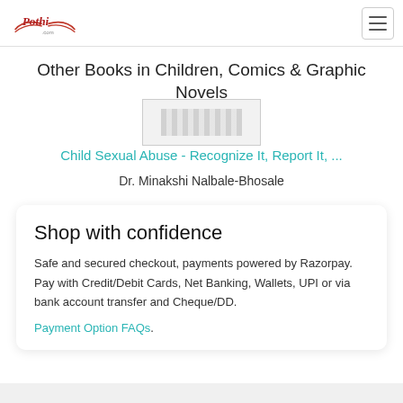Pothi.com navigation header with logo and hamburger menu
Other Books in Children, Comics & Graphic Novels
[Figure (illustration): Partial book cover thumbnail image]
Child Sexual Abuse - Recognize It, Report It, ...
Dr. Minakshi Nalbale-Bhosale
Shop with confidence
Safe and secured checkout, payments powered by Razorpay. Pay with Credit/Debit Cards, Net Banking, Wallets, UPI or via bank account transfer and Cheque/DD.
Payment Option FAQs.